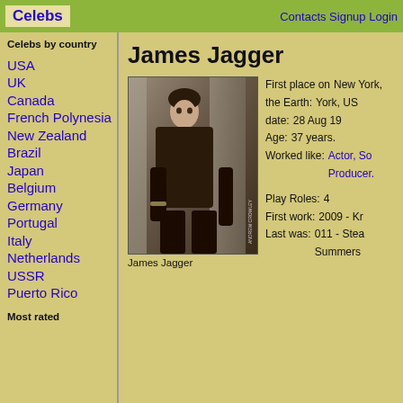Celebs | Contacts Signup Login
James Jagger
[Figure (photo): Photo of James Jagger, a young man in dark clothing leaning against a column. Photo credit: Andrew Crowley.]
James Jagger
First place on the Earth: New York, US
date: 28 Aug 19
Age: 37 years.
Worked like: Actor, So Producer.
Play Roles: 4
First work: 2009 - Kr
Last was: 011 - Stea Summers
Celebs by country
USA
UK
Canada
French Polynesia
New Zealand
Brazil
Japan
Belgium
Germany
Portugal
Italy
Netherlands
USSR
Puerto Rico
Most rated